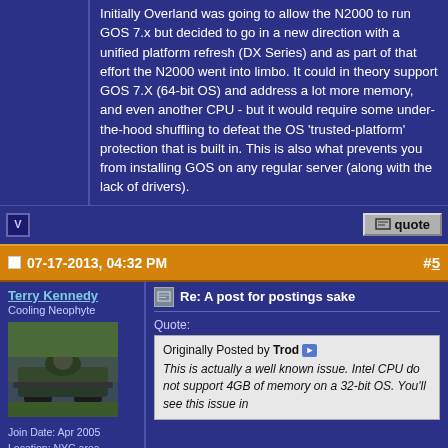Initially Overland was going to allow the N2000 to run GOS 7.x but decided to go in a new direction with a unified platform refresh (DX Series) and as part of that effort the N2000 went into limbo. It could in theory support GOS 7.X (64-bit OS) and address a lot more memory, and even another CPU - but it would require some under-the-hood shuffling to defeat the OS 'trusted-platform' protection that is built in. This is also what prevents you from installing GOS on any regular server (along with the lack of drivers).
07-17-2013, 04:32 PM
#5
Terry Kennedy
Cooling Neophyte
[Figure (photo): Avatar photo of a go-kart or small open-wheel vehicle outdoors]
Join Date: Apr 2005
Location: NYC area
Posts: 51
Re: A post for postings sake
Quote:
Originally Posted by Trod
This is actually a well known issue. Intel CPU do not support 4GB of memory on a 32-bit OS. You'll see this issue in